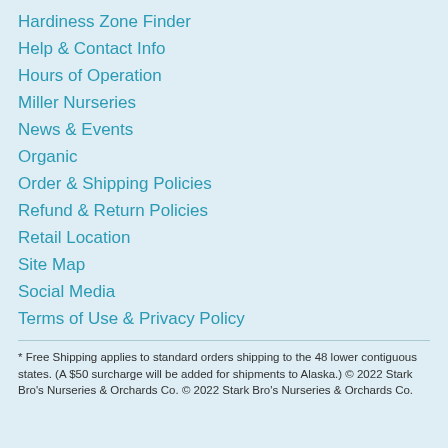Hardiness Zone Finder
Help & Contact Info
Hours of Operation
Miller Nurseries
News & Events
Organic
Order & Shipping Policies
Refund & Return Policies
Retail Location
Site Map
Social Media
Terms of Use & Privacy Policy
* Free Shipping applies to standard orders shipping to the 48 lower contiguous states. (A $50 surcharge will be added for shipments to Alaska.) © 2022 Stark Bro's Nurseries & Orchards Co. © 2022 Stark Bro's Nurseries & Orchards Co.